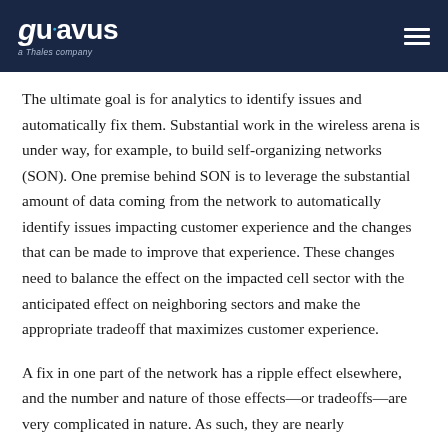guavus — a Thales company
The ultimate goal is for analytics to identify issues and automatically fix them. Substantial work in the wireless arena is under way, for example, to build self-organizing networks (SON). One premise behind SON is to leverage the substantial amount of data coming from the network to automatically identify issues impacting customer experience and the changes that can be made to improve that experience. These changes need to balance the effect on the impacted cell sector with the anticipated effect on neighboring sectors and make the appropriate tradeoff that maximizes customer experience.
A fix in one part of the network has a ripple effect elsewhere, and the number and nature of those effects—or tradeoffs—are very complicated in nature. As such, they are nearly